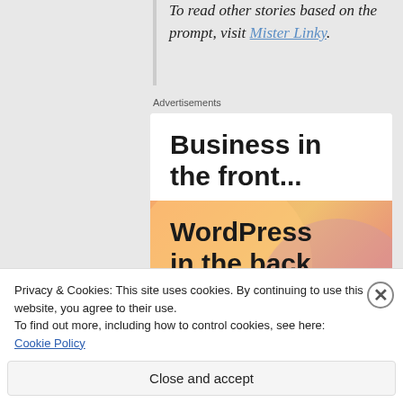To read other stories based on the prompt, visit Mister Linky.
Advertisements
[Figure (screenshot): WordPress advertisement banner: top white section with bold black text 'Business in the front...' and bottom colorful gradient section with bold black text 'WordPress in the back.']
Privacy & Cookies: This site uses cookies. By continuing to use this website, you agree to their use.
To find out more, including how to control cookies, see here: Cookie Policy
Close and accept